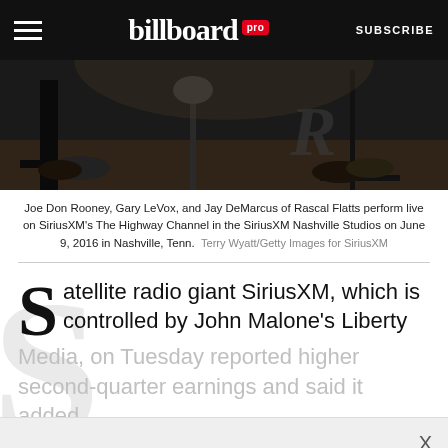billboard pro  SUBSCRIBE
[Figure (photo): Dark studio photo showing musicians' feet and microphone stands during a live performance]
Joe Don Rooney, Gary LeVox, and Jay DeMarcus of Rascal Flatts perform live on SiriusXM's The Highway Channel in the SiriusXM Nashville Studios on June 9, 2016 in Nashville, Tenn.  Terry Wyatt/Getty Images for SiriusXM
Satellite radio giant SiriusXM, which is controlled by John Malone's Liberty Media, on Tuesday reported higher second-quarter earnings and said it added [text continues behind paywall]